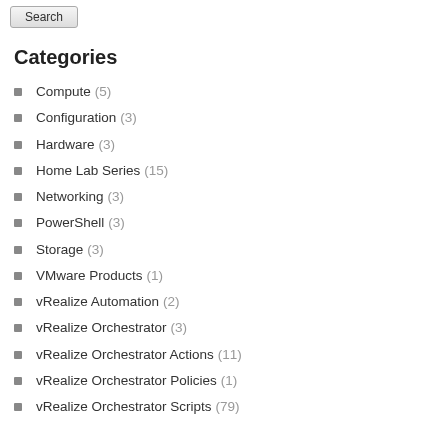Search
Categories
Compute (5)
Configuration (3)
Hardware (3)
Home Lab Series (15)
Networking (3)
PowerShell (3)
Storage (3)
VMware Products (1)
vRealize Automation (2)
vRealize Orchestrator (3)
vRealize Orchestrator Actions (11)
vRealize Orchestrator Policies (1)
vRealize Orchestrator Scripts (79)